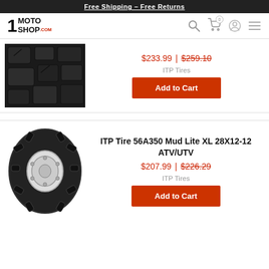Free Shipping – Free Returns
[Figure (logo): 1MotoShop.com logo with search, cart, user, and menu icons]
[Figure (photo): Close-up of ATV tire tread pattern]
$233.99 | $259.10
ITP Tires
Add to Cart
ITP Tire 56A350 Mud Lite XL 28X12-12 ATV/UTV
[Figure (photo): ITP Mud Lite XL ATV/UTV tire with aggressive tread]
$207.99 | $226.29
ITP Tires
Add to Cart